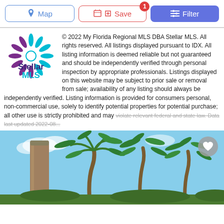Map | Save (1) | Filter
[Figure (logo): Stellar MLS logo with decorative star in teal and purple, text 'Stellar MLS' below]
© 2022 My Florida Regional MLS DBA Stellar MLS. All rights reserved. All listings displayed pursuant to IDX. All listing information is deemed reliable but not guaranteed and should be independently verified through personal inspection by appropriate professionals. Listings displayed on this website may be subject to prior sale or removal from sale; availability of any listing should always be independently verified. Listing information is provided for consumers personal, non-commercial use, solely to identify potential properties for potential purchase; all other use is strictly prohibited and may violate relevant federal and state law. Data last updated 2022-08...
[Figure (photo): Outdoor photo showing palm trees against a blue sky, with a wooden post in the foreground. A heart/favorite button is visible in the top right corner.]